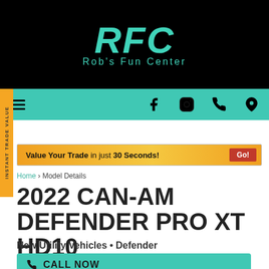[Figure (logo): RFC Rob's Fun Center logo in teal on black background]
RFC Rob's Fun Center - navigation bar with hamburger menu, Facebook, Instagram, phone, and location icons
INSTANT TRADE VALUE
Value Your Trade in just 30 Seconds! Go!
Home › Model Details
2022 CAN-AM DEFENDER PRO XT HD10
New Utility Vehicles • Defender
CALL NOW